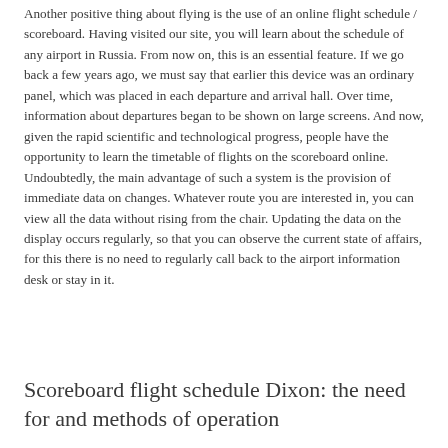Another positive thing about flying is the use of an online flight schedule / scoreboard. Having visited our site, you will learn about the schedule of any airport in Russia. From now on, this is an essential feature. If we go back a few years ago, we must say that earlier this device was an ordinary panel, which was placed in each departure and arrival hall. Over time, information about departures began to be shown on large screens. And now, given the rapid scientific and technological progress, people have the opportunity to learn the timetable of flights on the scoreboard online. Undoubtedly, the main advantage of such a system is the provision of immediate data on changes. Whatever route you are interested in, you can view all the data without rising from the chair. Updating the data on the display occurs regularly, so that you can observe the current state of affairs, for this there is no need to regularly call back to the airport information desk or stay in it.
Scoreboard flight schedule Dixon: the need for and methods of operation